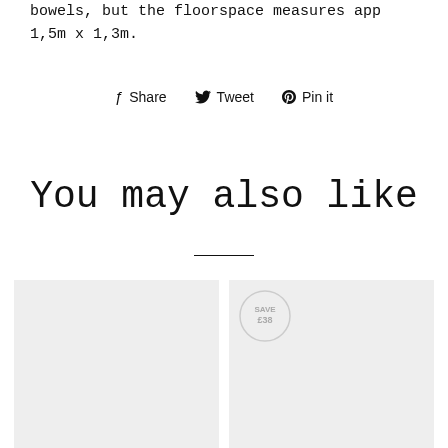bowels, but the floorspace measures app 1,5m x 1,3m.
f Share   Twitter Tweet   Pinterest Pin it
You may also like
[Figure (photo): Two product image placeholders side by side, the right one bearing a circular 'SAVE £38' badge overlay]
[Figure (other): Circular badge with text SAVE £38]